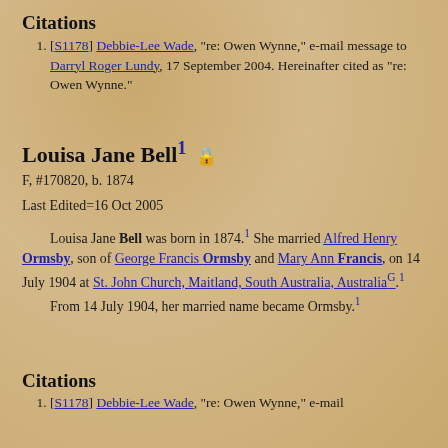Citations
[S1178] Debbie-Lee Wade, "re: Owen Wynne," e-mail message to Darryl Roger Lundy, 17 September 2004. Hereinafter cited as "re: Owen Wynne."
Louisa Jane Bell
F, #170820, b. 1874
Last Edited=16 Oct 2005
Louisa Jane Bell was born in 1874. She married Alfred Henry Ormsby, son of George Francis Ormsby and Mary Ann Francis, on 14 July 1904 at St. John Church, Maitland, South Australia, Australia. From 14 July 1904, her married name became Ormsby.
Citations
[S1178] Debbie-Lee Wade, "re: Owen Wynne," e-mail